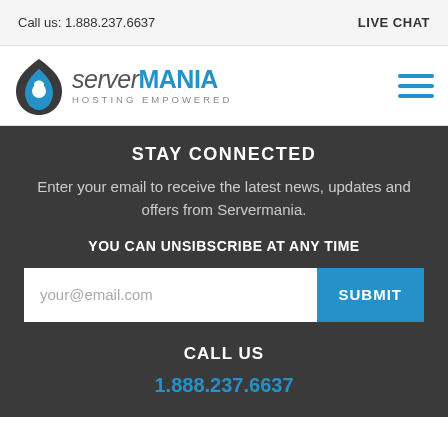Call us: 1.888.237.6637   LIVE CHAT
[Figure (logo): Server Mania logo with flame/droplet icon and text 'server MANIA HOSTING EMPOWERED']
STAY CONNECTED
Enter your email to receive the latest news, updates and offers from Servermania.
YOU CAN UNSIBSCRIBE AT ANY TIME
your@email.com  SUBMIT
CALL US
1.888.237.6637